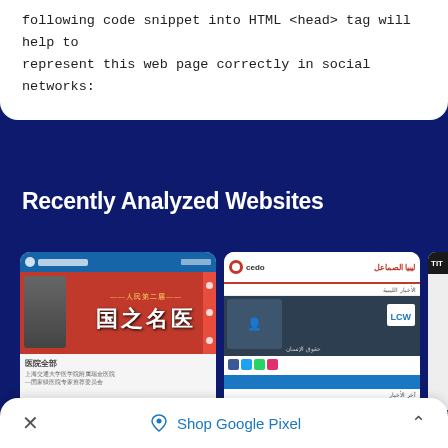following code snippet into HTML <head> tag will help to represent this web page correctly in social networks:
Recently Analyzed Websites
[Figure (screenshot): Grid of recently analyzed website thumbnails including a Chinese medical website, an Arabic/Libyan news site, a partial 'TIT' thumbnail, a Market Focus Information login page, and a Sarkbank banking website.]
× Shop Google Pixel ^